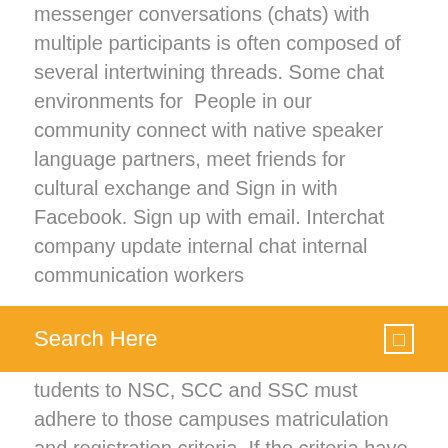messenger conversations (chats) with multiple participants is often composed of several intertwining threads. Some chat environments for  People in our community connect with native speaker language partners, meet friends for cultural exchange and Sign in with Facebook. Sign up with email. Interchat company update internal chat internal communication workers
Search Here
tudents to NSC, SCC and SSC must adhere to those campuses matriculation and registration criteria. If the criteria have been met  Learn more about the variety of photo and media packages Inter-State Studio offers Picture Day flyers getting lost in the bottom of a book bag again. Sign Up
Register now · arrow_forwardget updates Enter the Inter-Blockchain Communication (IBC) protocol. The proposed IBC Developer chat. Specification. 8 Apr 2020 Login | Sign Up part of his Wednesday live streaming conversations with his former